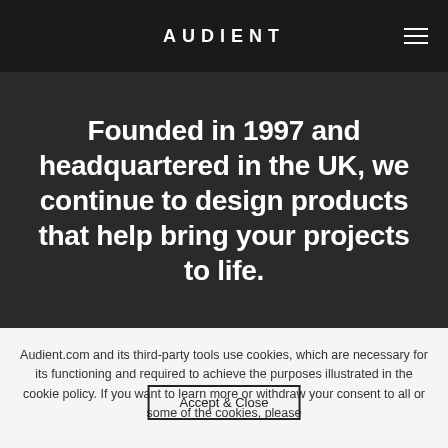AUDIENT
Founded in 1997 and headquartered in the UK, we continue to design products that help bring your projects to life.
Audient.com and its third-party tools use cookies, which are necessary for its functioning and required to achieve the purposes illustrated in the cookie policy. If you want to learn more or withdraw your consent to all or some of the cookies, please
Accept & Close